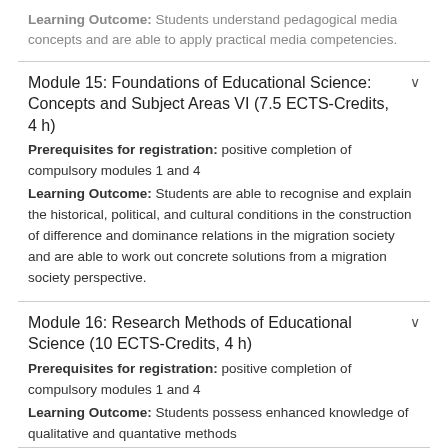Learning Outcome: Students understand pedagogical media concepts and are able to apply practical media competencies.
Module 15: Foundations of Educational Science: Concepts and Subject Areas VI (7.5 ECTS-Credits, 4 h)
Prerequisites for registration: positive completion of compulsory modules 1 and 4
Learning Outcome: Students are able to recognise and explain the historical, political, and cultural conditions in the construction of difference and dominance relations in the migration society and are able to work out concrete solutions from a migration society perspective.
Module 16: Research Methods of Educational Science (10 ECTS-Credits, 4 h)
Prerequisites for registration: positive completion of compulsory modules 1 and 4
Learning Outcome: Students possess enhanced knowledge of qualitative and quantative methods